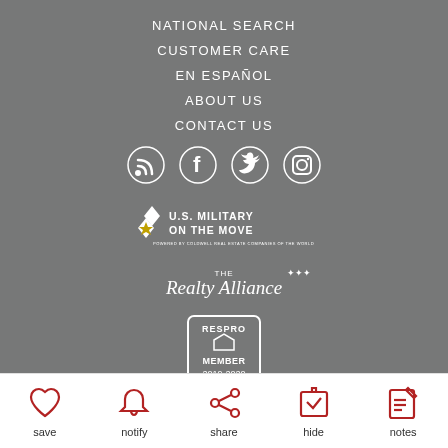NATIONAL SEARCH
CUSTOMER CARE
EN ESPAÑOL
ABOUT US
CONTACT US
[Figure (infographic): Social media icons: RSS feed, Facebook, Twitter, Instagram]
[Figure (logo): U.S. Military On The Move logo with chevron and star]
[Figure (logo): The Realty Alliance logo with stars]
[Figure (logo): RESPRO Member 2019-2020 badge]
[Figure (logo): Leading Real Estate Companies of the World logo]
save
notify
share
hide
notes